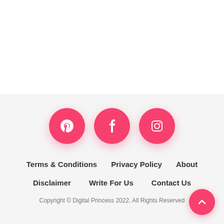[Figure (infographic): Three pink circular social media icon buttons for Pinterest, Facebook, and Instagram]
Terms & Conditions
Privacy Policy
About
Disclaimer
Write For Us
Contact Us
Copyright © Digital Princess 2022. All Rights Reserved